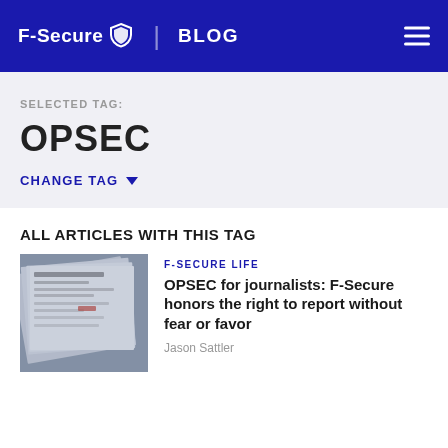F-Secure BLOG
SELECTED TAG:
OPSEC
CHANGE TAG
ALL ARTICLES WITH THIS TAG
[Figure (photo): Stack of newspapers photographed at an angle, blue-grey tones]
F-SECURE LIFE
OPSEC for journalists: F-Secure honors the right to report without fear or favor
Jason Sattler